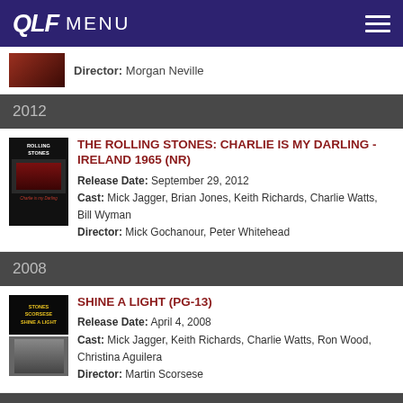QLF MENU
Director: Morgan Neville
2012
THE ROLLING STONES: CHARLIE IS MY DARLING - IRELAND 1965 (NR)
Release Date: September 29, 2012
Cast: Mick Jagger, Brian Jones, Keith Richards, Charlie Watts, Bill Wyman
Director: Mick Gochanour, Peter Whitehead
2008
SHINE A LIGHT (PG-13)
Release Date: April 4, 2008
Cast: Mick Jagger, Keith Richards, Charlie Watts, Ron Wood, Christina Aguilera
Director: Martin Scorsese
2004
SOCIAL GENOCIDE (MEMORIA DEL SAQUEO) (NR)